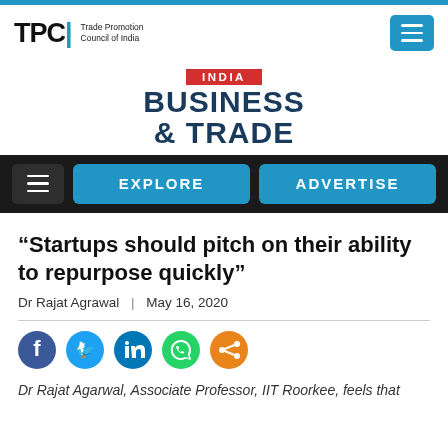TPC| Trade Promotion Council of India
[Figure (logo): India Business & Trade magazine logo with red INDIA banner and dark blue BUSINESS & TRADE text]
[Figure (screenshot): Navigation bar with hamburger menu, EXPLORE button, and ADVERTISE button on dark background]
“Startups should pitch on their ability to repurpose quickly”
Dr Rajat Agrawal | May 16, 2020
[Figure (infographic): Social media share icons: Facebook, Twitter, LinkedIn, WhatsApp, Share]
Dr Rajat Agarwal, Associate Professor, IIT Roorkee, feels that